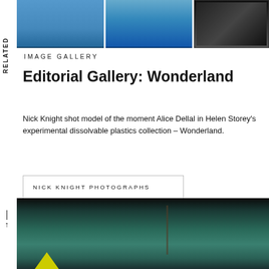[Figure (photo): Three fashion/editorial photo thumbnails showing figures in blue tones]
IMAGE GALLERY
Editorial Gallery: Wonderland
Nick Knight shot model of the moment Alice Dellal in Helen Storey's experimental dissolvable plastics collection – Wonderland.
NICK KNIGHT PHOTOGRAPHS
SUSTAINABLE FASHION
[Figure (photo): Underwater photograph showing a figure in teal/green water with yellow element at bottom]
RELATED